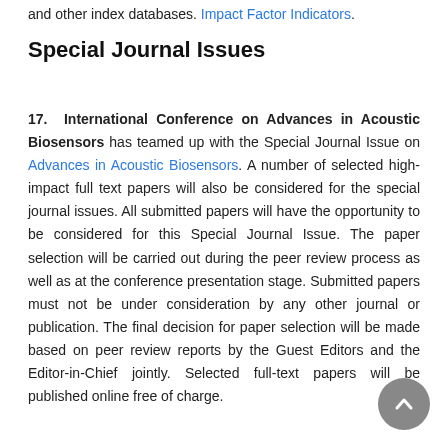and other index databases. Impact Factor Indicators.
Special Journal Issues
17. International Conference on Advances in Acoustic Biosensors has teamed up with the Special Journal Issue on Advances in Acoustic Biosensors. A number of selected high-impact full text papers will also be considered for the special journal issues. All submitted papers will have the opportunity to be considered for this Special Journal Issue. The paper selection will be carried out during the peer review process as well as at the conference presentation stage. Submitted papers must not be under consideration by any other journal or publication. The final decision for paper selection will be made based on peer review reports by the Guest Editors and the Editor-in-Chief jointly. Selected full-text papers will be published online free of charge.